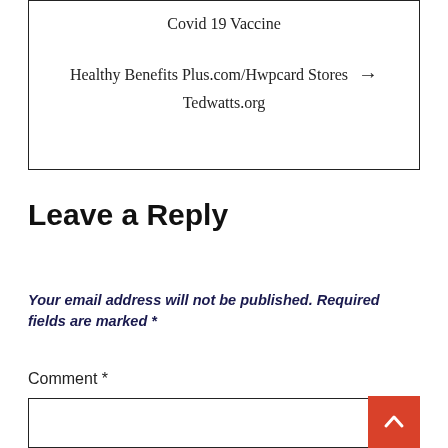Covid 19 Vaccine
Healthy Benefits Plus.com/Hwpcard Stores → Tedwatts.org
Leave a Reply
Your email address will not be published. Required fields are marked *
Comment *